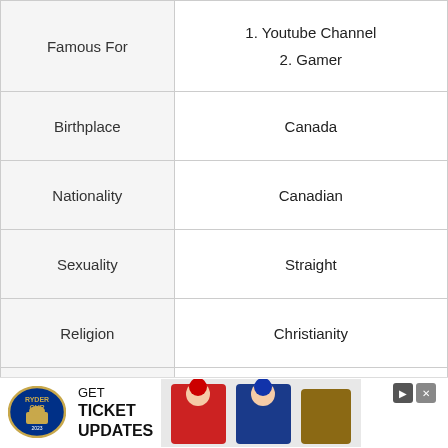|  |  |
| --- | --- |
| Famous For | 1. Youtube Channel
2. Gamer |
| Birthplace | Canada |
| Nationality | Canadian |
| Sexuality | Straight |
| Religion | Christianity |
| Gender | Male |
| Ethnicity | Mixed |
| Zodiac | Libra |
| Physical Stats |  |
[Figure (other): Ryder Cup advertisement banner with 'GET TICKET UPDATES' text, logo, and golf player photos]